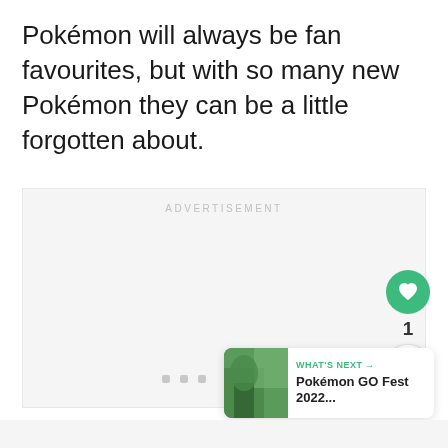Pokémon will always be fan favourites, but with so many new Pokémon they can be a little forgotten about.
[Figure (other): Advertisement placeholder box with 'ADVERTISEMENT' label and three small loading dots]
[Figure (infographic): UI element: green circular heart/like button with count '1' below it, and a share button]
[Figure (infographic): What's Next widget showing a thumbnail image and text 'WHAT'S NEXT → Pokémon GO Fest 2022...']